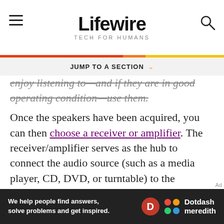Lifewire — TECH FOR HUMANS
enjoy listening to—and if they are in good operating condition—use them.
Once the speakers have been acquired, you can then choose a receiver or amplifier. The receiver/amplifier serves as the hub to connect the audio source (such as a media player, CD, DVD, or turntable) to the speakers. If you're sticking to the basics, there's no need to get fancy as long as the power and speaker connection needs are met. But if you own (or
[Figure (other): Dotdash Meredith advertisement banner: 'We help people find answers, solve problems and get inspired.']